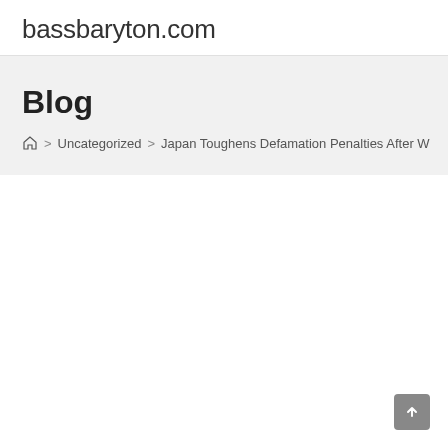bassbaryton.com
Blog
🏠 > Uncategorized > Japan Toughens Defamation Penalties After W